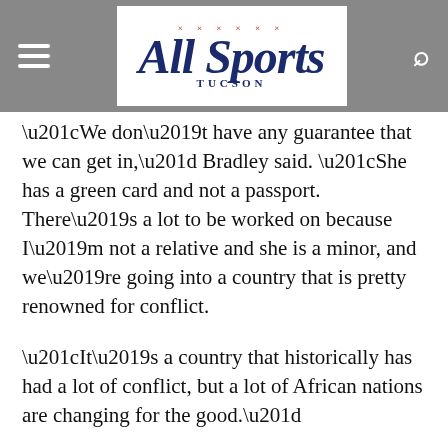All Sports Tucson
“We don’t have any guarantee that we can get in,” Bradley said. “She has a green card and not a passport. There’s a lot to be worked on because I’m not a relative and she is a minor, and we’re going into a country that is pretty renowned for conflict.
“It’s a country that historically has had a lot of conflict, but a lot of African nations are changing for the good.”
The Guardian published a story in 2016, at the time Ahimana’s family came to the United States, that mentioned nearly 240,000 people fled Burundi to neighboring countries when former President Pierre Nkurunziza announced he would run for a third term, despite a constitutional two-term limit.